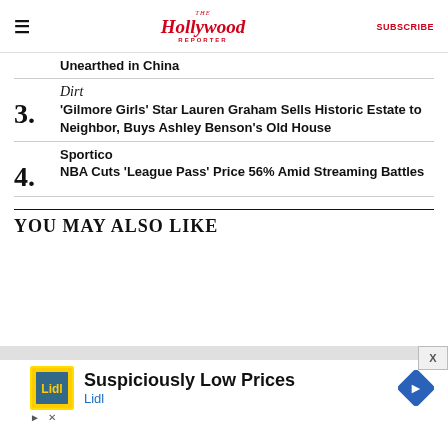The Hollywood Reporter | SUBSCRIBE
Unearthed in China
Dirt
3. 'Gilmore Girls' Star Lauren Graham Sells Historic Estate to Neighbor, Buys Ashley Benson's Old House
Sportico
4. NBA Cuts 'League Pass' Price 56% Amid Streaming Battles
YOU MAY ALSO LIKE
[Figure (screenshot): Advertisement banner: Lidl 'Suspiciously Low Prices' ad with yellow/green Lidl logo icon and blue diamond navigation icon]